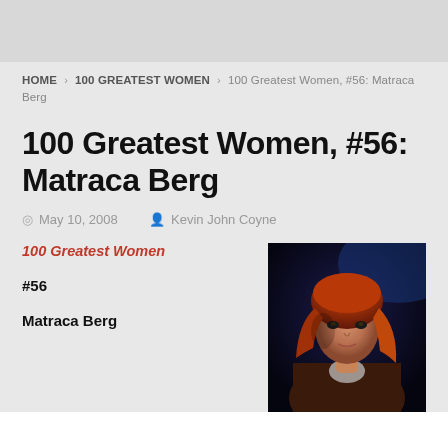HOME > 100 GREATEST WOMEN > 100 Greatest Women, #56: Matraca Berg
100 Greatest Women, #56: Matraca Berg
May 10, 2008   Kevin John Coyne
100 Greatest Women
#56
Matraca Berg
[Figure (photo): Portrait photo of Matraca Berg, a woman with red/auburn hair, dark background]